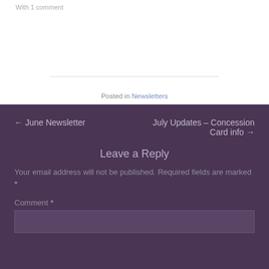With 1 comment
Posted in Newsletters
← June Newsletter
July Updates – Concession Card info →
Leave a Reply
Your email address will not be published. Required fields are marked *
Comment *